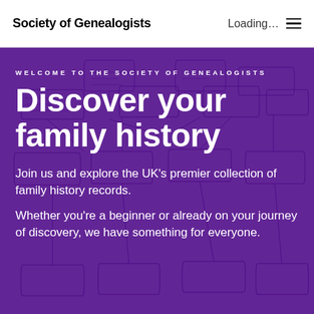Society of Genealogists | Loading... ☰
[Figure (illustration): Purple-overlaid background image of a handwritten family tree/genealogy chart with shield-shaped boxes and handwritten names, overlaid with deep purple/violet colour wash.]
WELCOME TO THE SOCIETY OF GENEALOGISTS
Discover your family history
Join us and explore the UK's premier collection of family history records.
Whether you're a beginner or already on your journey of discovery, we have something for everyone.